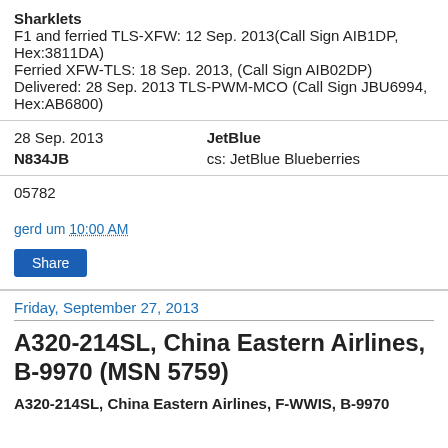Sharklets
F1 and ferried TLS-XFW: 12 Sep. 2013(Call Sign AIB1DP, Hex:3811DA)
Ferried XFW-TLS: 18 Sep. 2013, (Call Sign AIB02DP)
Delivered: 28 Sep. 2013 TLS-PWM-MCO (Call Sign JBU6994, Hex:AB6800)
| 28 Sep. 2013 | JetBlue |
| N834JB | cs: JetBlue Blueberries |
05782
gerd um 10:00 AM
Share
Friday, September 27, 2013
A320-214SL, China Eastern Airlines, B-9970 (MSN 5759)
A320-214SL, China Eastern Airlines, F-WWIS, B-9970